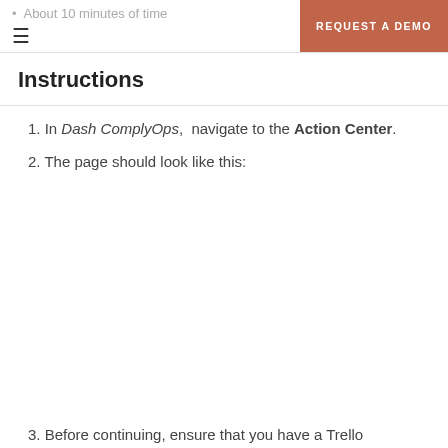About 10 minutes of time
Instructions
1. In Dash ComplyOps, navigate to the Action Center.
2. The page should look like this:
3. Before continuing, ensure that you have a Trello